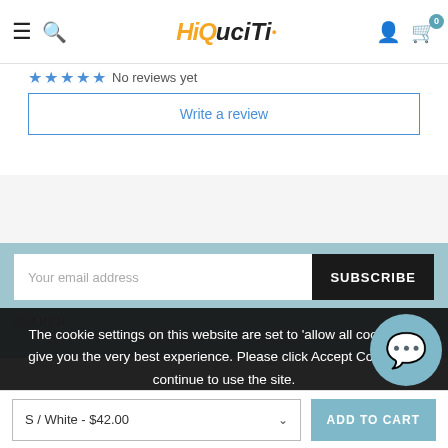[Figure (logo): HiQu Citi logo with orange stylized text and smiley face]
No reviews yet
Write a review
Your email address
SUBSCRIBE
The cookie settings on this website are set to 'allow all cookies' to give you the very best experience. Please click Accept Cookies to continue to use the site.
PRIVACY POLICY
ACCEPT ✓
SEARCH
S / White - $42.00
ADD TO CART